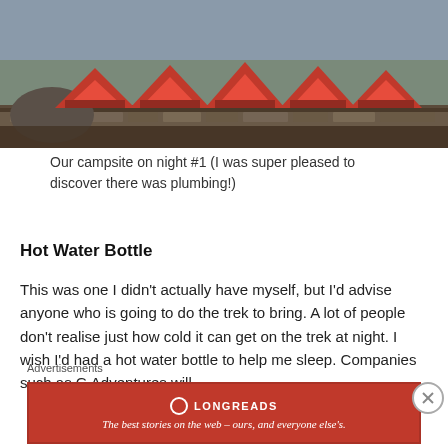[Figure (photo): Photograph of red tents at a mountain campsite with stone walls and rocky terrain in the background]
Our campsite on night #1 (I was super pleased to discover there was plumbing!)
Hot Water Bottle
This was one I didn't actually have myself, but I'd advise anyone who is going to do the trek to bring. A lot of people don't realise just how cold it can get on the trek at night. I wish I'd had a hot water bottle to help me sleep. Companies such as G Adventures will
Advertisements
[Figure (other): Longreads advertisement banner — red background with logo and tagline: The best stories on the web – ours, and everyone else's.]